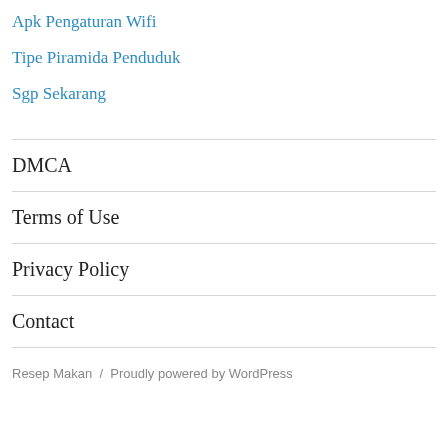Apk Pengaturan Wifi
Tipe Piramida Penduduk
Sgp Sekarang
DMCA
Terms of Use
Privacy Policy
Contact
Resep Makan / Proudly powered by WordPress